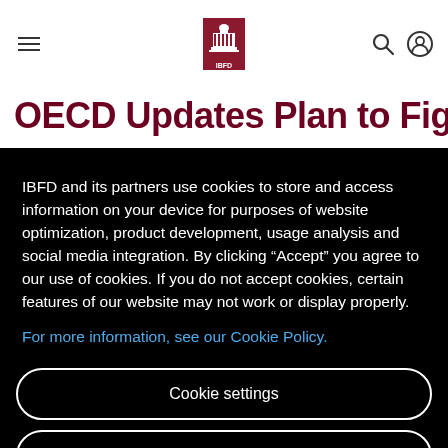[Figure (logo): IBFD logo — red square with white capitol building illustration and IBFD text below]
OECD Updates Plan to Fight
IBFD and its partners use cookies to store and access information on your device for purposes of website optimization, product development, usage analysis and social media integration. By clicking “Accept” you agree to our use of cookies. If you do not accept cookies, certain features of our website may not work or display properly.
For more information, see our Cookie Policy.
Cookie settings
Decline